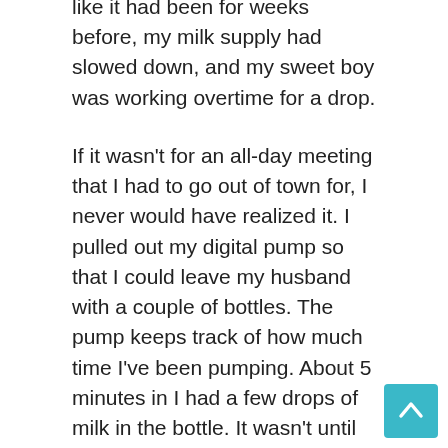like it had been for weeks before, my milk supply had slowed down, and my sweet boy was working overtime for a drop.
If it wasn't for an all-day meeting that I had to go out of town for, I never would have realized it. I pulled out my digital pump so that I could leave my husband with a couple of bottles. The pump keeps track of how much time I've been pumping. About 5 minutes in I had a few drops of milk in the bottle. It wasn't until nearly 10 minutes of pumping that I felt my let down start.
I pumped about five ounces after that, and was surprised because I had always produced a lot more milk. Once I realized what was going on, I went to work trying to increase my supply. I figured the biggest issue was dehydration. The hospital sent me home with a huge mug that I kept filled with water. Once I healed from the c-